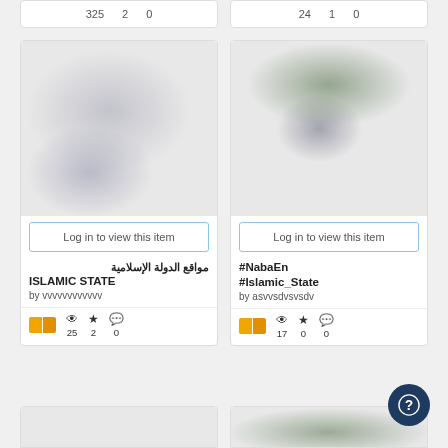[Figure (screenshot): Partial top card showing stats: 325, 2, 0]
[Figure (screenshot): Partial top card showing stats: 24, 1, 0]
[Figure (photo): Blurred card image with gray/purple blobs - left card]
Log in to view this item
مواقع الدولة الإسلامية ISLAMIC STATE
by vvvvvvvvvvvv
25 views, 2 favorites, 0 comments
[Figure (photo): Blurred card image with green/dark blobs - right card]
Log in to view this item
#NabaEn #Islamic_State
by asvvsdvsvsdv
17 views, 0 favorites, 0 comments
[Figure (screenshot): Partial bottom-left card, plain gray]
[Figure (screenshot): Partial bottom-right card with green blob]
[Figure (other): Dark blue circular help/question mark button]